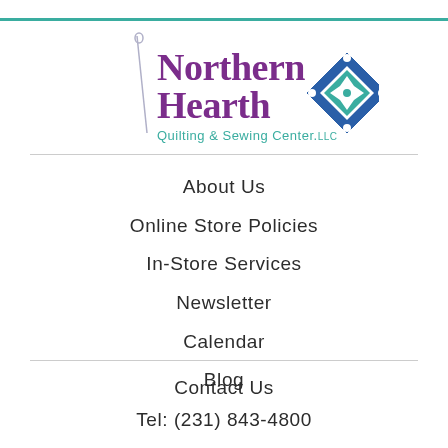[Figure (logo): Northern Hearth Quilting & Sewing Center LLC logo with needle graphic and diamond quilt block icon]
About Us
Online Store Policies
In-Store Services
Newsletter
Calendar
Blog
Contact Us
Tel: (231) 843-4800